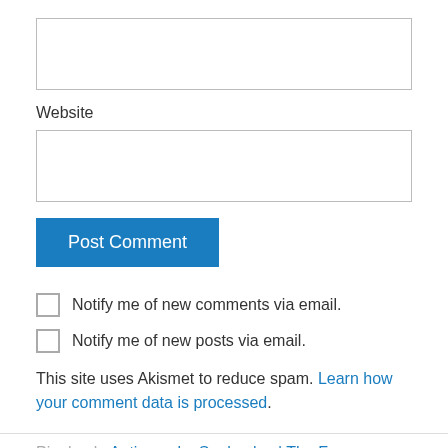[Figure (other): Empty input text box at the top of the form]
Website
[Figure (other): Empty input text box for website field]
Post Comment
Notify me of new comments via email.
Notify me of new posts via email.
This site uses Akismet to reduce spam. Learn how your comment data is processed.
Pingback: Antigone by Sophocles | The Forum